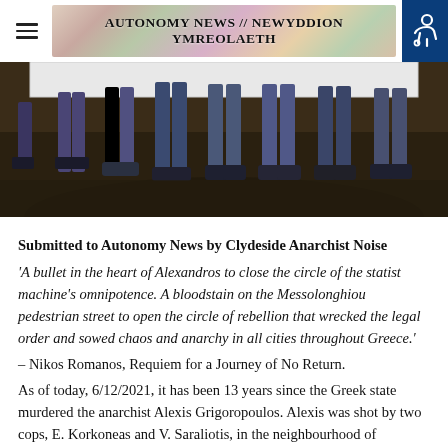Autonomy News // Newyddion Ymreolaeth
[Figure (photo): Photograph showing the lower bodies and feet of several people standing in a row, holding a banner, on a wooden floor.]
Submitted to Autonomy News by Clydeside Anarchist Noise
'A bullet in the heart of Alexandros to close the circle of the statist machine's omnipotence. A bloodstain on the Messolonghiou pedestrian street to open the circle of rebellion that wrecked the legal order and sowed chaos and anarchy in all cities throughout Greece.'
– Nikos Romanos, Requiem for a Journey of No Return.
As of today, 6/12/2021, it has been 13 years since the Greek state murdered the anarchist Alexis Grigoropoulos. Alexis was shot by two cops, E. Korkoneas and V. Saraliotis, in the neighbourhood of Exarcheia, following minor clashes with